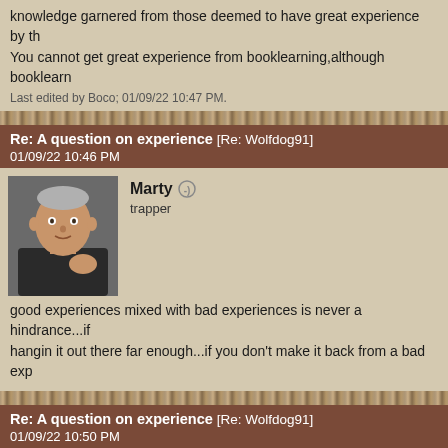knowledge garnered from those deemed to have great experience by th... You cannot get great experience from booklearning,although booklearn...
Last edited by Boco; 01/09/22 10:47 PM.
Re: A question on experience [Re: Wolfdog91]
01/09/22 10:46 PM
Marty
trapper
good experiences mixed with bad experiences is never a hindrance...if hangin it out there far enough...if you don't make it back from a bad exp...
Re: A question on experience [Re: Wolfdog91]
01/09/22 10:50 PM
SNIPERB🐾
trapper